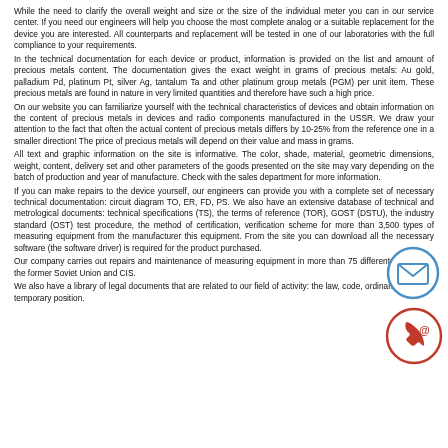While the need to clarify the overall weight and size or the size of the individual meter you can in our service center. If you need our engineers will help you choose the most complete analog or a suitable replacement for the device you are interested. All counterparts and replacement will be tested in one of our laboratories with the full compliance to your requirements.
In the technical documentation for each device or product, information is provided on the list and amount of precious metals content. The documentation gives the exact weight in grams of precious metals: Au gold, palladium Pd, platinum Pt, silver Ag, tantalum Ta and other platinum group metals (PGM) per unit item. These precious metals are found in nature in very limited quantities and therefore have such a high price.
On our website you can familiarize yourself with the technical characteristics of devices and obtain information on the content of precious metals in devices and radio components manufactured in the USSR. We draw your attention to the fact that often the actual content of precious metals differs by 10-25% from the reference one in a smaller direction! The price of precious metals will depend on their value and mass in grams.
All text and graphic information on the site is informative. The color, shade, material, geometric dimensions, weight, content, delivery set and other parameters of the goods presented on the site may vary depending on the batch of production and year of manufacture. Check with the sales department for more information.
If you can make repairs to the device yourself, our engineers can provide you with a complete set of necessary technical documentation: circuit diagram TO, ER, FD, PS. We also have an extensive database of technical and metrological documents: technical specifications (TS), the terms of reference (TOR), GOST (DSTU), the industry standard (OST) test procedure, the method of certification, verification scheme for more than 3,500 types of measuring equipment from the manufacturer this equipment. From the site you can download all the necessary software (the software driver) is required for the product purchased.
Our company carries out repairs and maintenance of measuring equipment in more than 75 different factories of the former Soviet Union and CIS.
We also have a library of legal documents that are related to our field of activity: the law, code, ordinance, decree, temporary position.
[Figure (illustration): Email icon inside a blue circle outline]
[Figure (illustration): Phone with @ symbol inside a red circle]